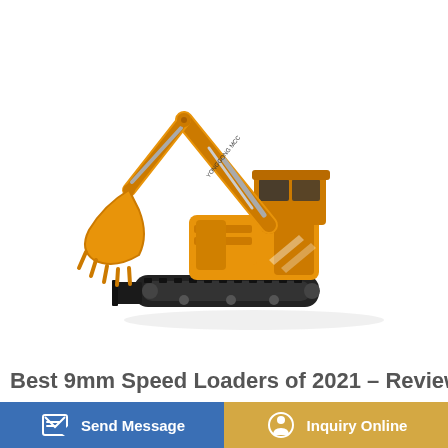[Figure (photo): Orange crawler excavator (mini excavator) on white background, with extended boom arm and bucket, rubber tracks, and enclosed cabin. Brand markings visible on the body.]
Best 9mm Speed Loaders of 2021 – Reviews &
Send Message
Inquiry Online